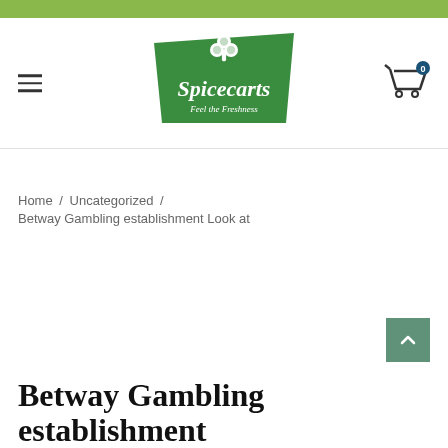[Figure (logo): Spicecarts logo - green trapezoid shape with white clover leaf and text 'Spicecarts Feel the Freshness']
Home / Uncategorized /
Betway Gambling establishment Look at
Betway Gambling establishment